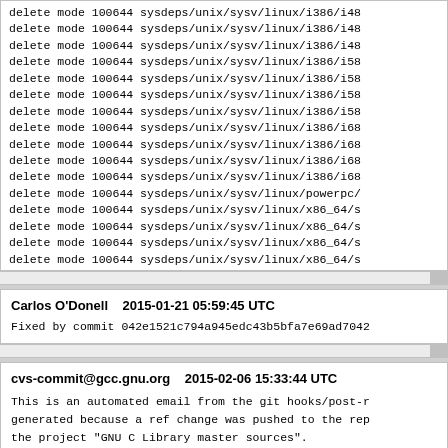delete mode 100644 sysdeps/unix/sysv/linux/i386/i48
delete mode 100644 sysdeps/unix/sysv/linux/i386/i48
delete mode 100644 sysdeps/unix/sysv/linux/i386/i48
delete mode 100644 sysdeps/unix/sysv/linux/i386/i58
delete mode 100644 sysdeps/unix/sysv/linux/i386/i58
delete mode 100644 sysdeps/unix/sysv/linux/i386/i58
delete mode 100644 sysdeps/unix/sysv/linux/i386/i58
delete mode 100644 sysdeps/unix/sysv/linux/i386/i68
delete mode 100644 sysdeps/unix/sysv/linux/i386/i68
delete mode 100644 sysdeps/unix/sysv/linux/i386/i68
delete mode 100644 sysdeps/unix/sysv/linux/i386/i68
delete mode 100644 sysdeps/unix/sysv/linux/powerpc/
delete mode 100644 sysdeps/unix/sysv/linux/x86_64/s
delete mode 100644 sysdeps/unix/sysv/linux/x86_64/s
delete mode 100644 sysdeps/unix/sysv/linux/x86_64/s
delete mode 100644 sysdeps/unix/sysv/linux/x86_64/s
Carlos O'Donell    2015-01-21 05:59:45 UTC

Fixed by commit 042e1521c794a945edc43b5bfa7e69ad7042
cvs-commit@gcc.gnu.org    2015-02-06 15:33:44 UTC

This is an automated email from the git hooks/post-r
generated because a ref change was pushed to the rep
the project "GNU C Library master sources".

The annotated tag, glibc-2.21 has been created